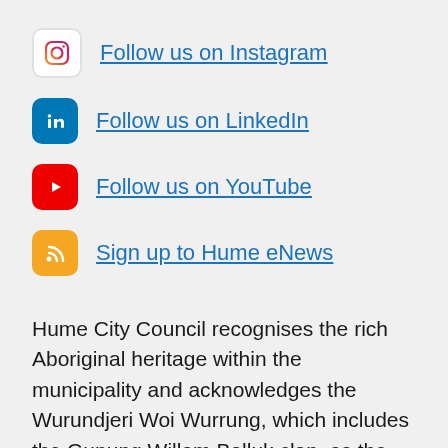Follow us on Instagram
Follow us on LinkedIn
Follow us on YouTube
Sign up to Hume eNews
Hume City Council recognises the rich Aboriginal heritage within the municipality and acknowledges the Wurundjeri Woi Wurrung, which includes the Gunung Willam Balluk clan, as the Traditional Custodians of this land. Council embraces Aboriginal and Torres Strait Islander living cultures as a vital